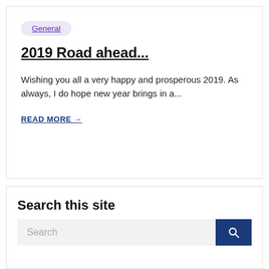General
2019 Road ahead...
Wishing you all a very happy and prosperous 2019. As always, I do hope new year brings in a...
READ MORE →
Search this site
Search